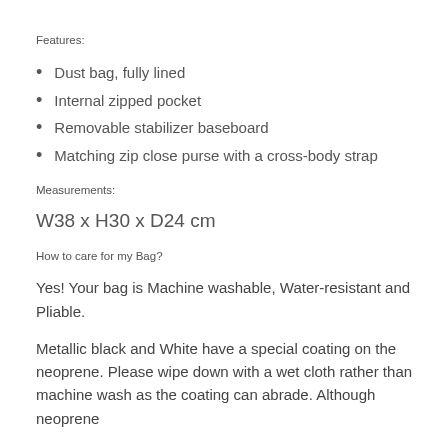Features:
Dust bag, fully lined
Internal zipped pocket
Removable stabilizer baseboard
Matching zip close purse with a cross-body strap
Measurements:
W38 x H30 x D24 cm
How to care for my Bag?
Yes! Your bag is Machine washable, Water-resistant and Pliable.
Metallic black and White have a special coating on the neoprene. Please wipe down with a wet cloth rather than machine wash as the coating can abrade. Although neoprene